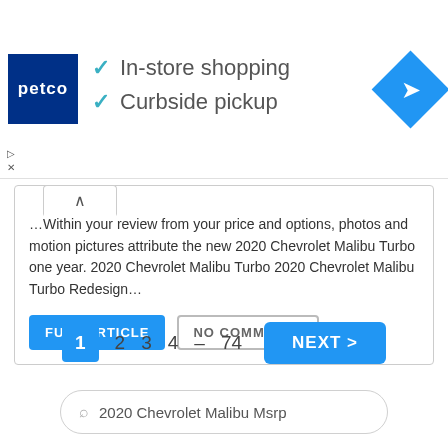[Figure (screenshot): Petco advertisement banner with logo, checkmarks for 'In-store shopping' and 'Curbside pickup', and a blue navigation arrow diamond icon]
…Within your review from your price and options, photos and motion pictures attribute the new 2020 Chevrolet Malibu Turbo one year. 2020 Chevrolet Malibu Turbo 2020 Chevrolet Malibu Turbo Redesign…
FULL ARTICLE
NO COMMENTS
1  2  3  4  –  74  NEXT >
2020 Chevrolet Malibu Msrp